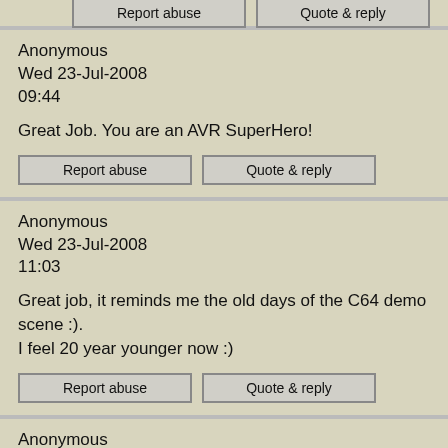Anonymous
Wed 23-Jul-2008
09:44

Great Job. You are an AVR SuperHero!
Report abuse | Quote & reply
Anonymous
Wed 23-Jul-2008
11:03

Great job, it reminds me the old days of the C64 demo scene :).
I feel 20 year younger now :)
Report abuse | Quote & reply
Anonymous
Tue 29-Jul-2008